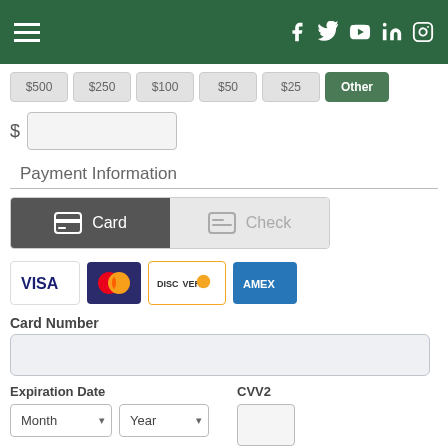Navigation header with hamburger menu and social icons: Facebook, Twitter, YouTube, LinkedIn, Instagram
[Figure (screenshot): Amount selection buttons: $500, $250, $100, $50, $25, Other (highlighted in green)]
[Figure (screenshot): Dollar sign with empty text input field for custom amount]
Payment Information
[Figure (screenshot): Payment method tabs: Card (active, dark background) and Check (inactive, light background)]
[Figure (screenshot): Accepted card logos: VISA, Mastercard, Discover, AMEX]
Card Number
[Figure (screenshot): Card number input field (empty)]
Expiration Date
CVV2
[Figure (screenshot): Month and Year dropdowns for expiration date, and CVV2 input box]